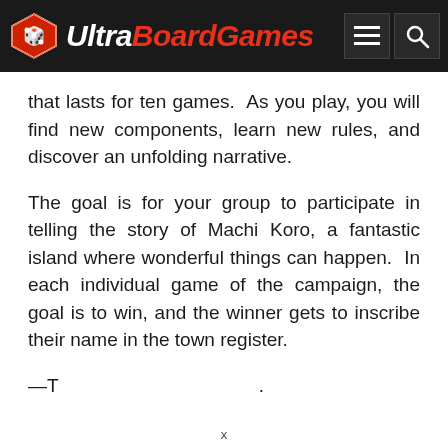UltraBoardGames
that lasts for ten games. As you play, you will find new components, learn new rules, and discover an unfolding narrative.
The goal is for your group to participate in telling the story of Machi Koro, a fantastic island where wonderful things can happen. In each individual game of the campaign, the goal is to win, and the winner gets to inscribe their name in the town register.
—T...